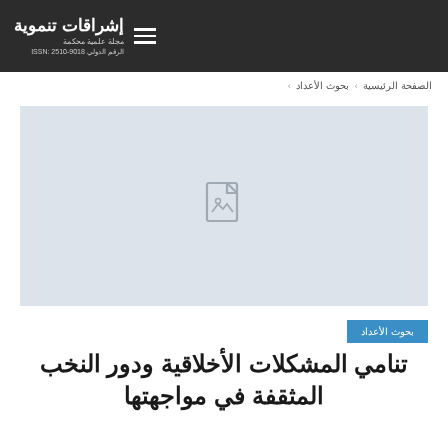إشراقات تنموية | مجلة علمية محكمة | الرقم الدولي ISSN: 2510-9018
الصفحة الرئيسية < بحوث الأعداد <
[Figure (illustration): Placeholder image with a document/image icon in a light grey box]
بحوث الأعداد
تنامي المشكلات الأخلاقية ودور النخب المثقفة في مواجهتها